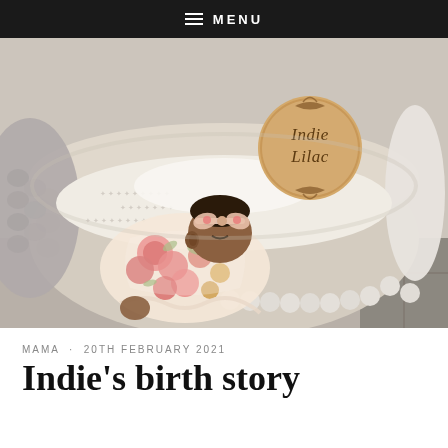MENU
[Figure (photo): A newborn baby girl named Indie Lilac lying in a cream knitted basket/Moses basket, dressed in a floral outfit with a bow headband. A wooden circular name plaque reading 'Indie Lilac' with leaf decorations is propped up in the basket.]
MAMA · 20TH FEBRUARY 2021
Indie's birth story